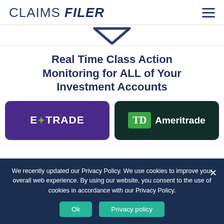CLAIMS FILER
[Figure (logo): ClaimsFiler logo chevron/arrow shape in dark blue]
Real Time Class Action Monitoring for ALL of Your Investment Accounts
[Figure (logo): E*TRADE brokerage logo on purple background]
[Figure (logo): TD Ameritrade brokerage logo on dark green background]
We recently updated our Privacy Policy. We use cookies to improve your overall web experience. By using our website, you consent to the use of cookies in accordance with our Privacy Policy.